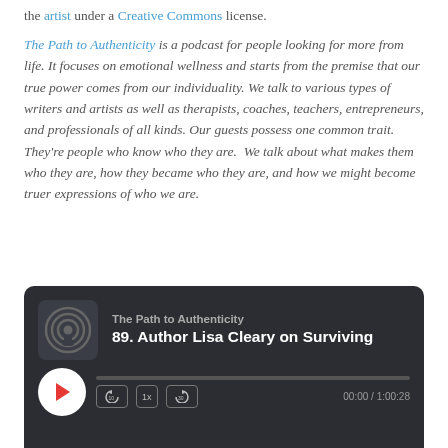the artist under a Creative Commons license.
The Path to Authenticity is a podcast for people looking for more from life. It focuses on emotional wellness and starts from the premise that our true power comes from our individuality. We talk to various types of writers and artists as well as therapists, coaches, teachers, entrepreneurs, and professionals of all kinds. Our guests possess one common trait. They're people who know who they are. We talk about what makes them who they are, how they became who they are, and how we might become truer expressions of who we are.
[Figure (screenshot): Podcast player widget showing 'The Path to Authenticity' podcast, episode '89. Author Lisa Cleary on Surviving', with a play button, progress bar, skip controls (10s back, 1x speed, 30s forward), and time display 00:00 / 1:00:28.]